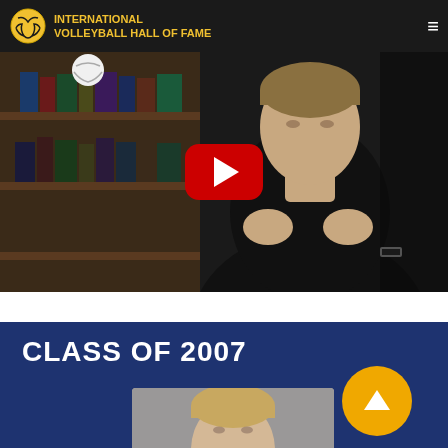International Volleyball Hall of Fame
[Figure (screenshot): YouTube video thumbnail showing a man in black turtleneck with hands clasped, seated in front of a bookshelf with a volleyball visible, with a YouTube play button overlay]
CLASS OF 2007
[Figure (photo): Headshot photo of a man with short blonde hair against a gray background]